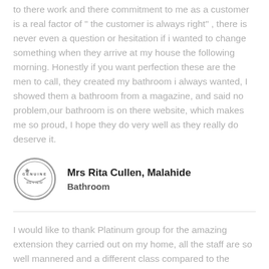to there work and there commitment to me as a customer is a real factor of " the customer is always right" , there is never even a question or hesitation if i wanted to change something when they arrive at my house the following morning. Honestly if you want perfection these are the men to call, they created my bathroom i always wanted, I showed them a bathroom from a magazine, and said no problem,our bathroom is on there website, which makes me so proud, I hope they do very well as they really do deserve it.
Mrs Rita Cullen, Malahide
Bathroom
I would like to thank Platinum group for the amazing extension they carried out on my home, all the staff are so well mannered and a different class compared to the construction companies in which i have previously dealt with, i could not recommend them more enough, we only browsed by them on the Internet, they have to be the cleanest and neatest company myself or friends have ever seen doing work, they hoovered up after every day and